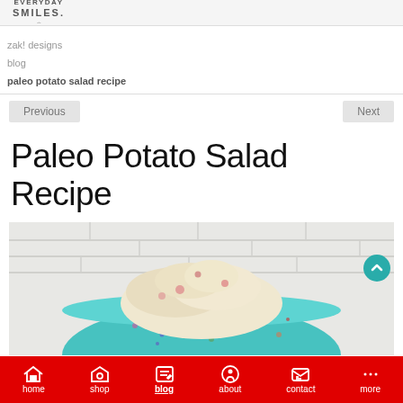EVERYDAY SMILES
zak! designs
blog
paleo potato salad recipe
Previous    Next
Paleo Potato Salad Recipe
[Figure (photo): A colorful speckled turquoise bowl overflowing with paleo potato salad, photographed against a white brick wall background.]
home  shop  blog  about  contact  more